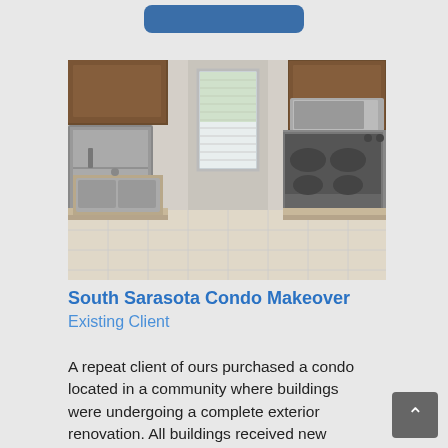[Figure (other): Blue rounded rectangle button at top of page]
[Figure (photo): Interior photo of a kitchen with dark wood cabinets, stainless steel refrigerator, stainless steel range and microwave, double sink, light tile floor, and a window in the center background.]
South Sarasota Condo Makeover
Existing Client
A repeat client of ours purchased a condo located in a community where buildings were undergoing a complete exterior renovation. All buildings received new roofs, windows, and siding. The community was looking as good as it